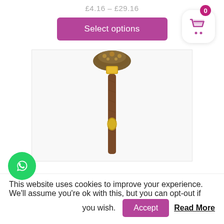£4.16 – £29.16
Select options
[Figure (photo): Decorative walking cane or bottle with ornate brass top, wooden body, and gold label, shown against white background]
This website uses cookies to improve your experience. We'll assume you're ok with this, but you can opt-out if you wish.
Accept
Read More